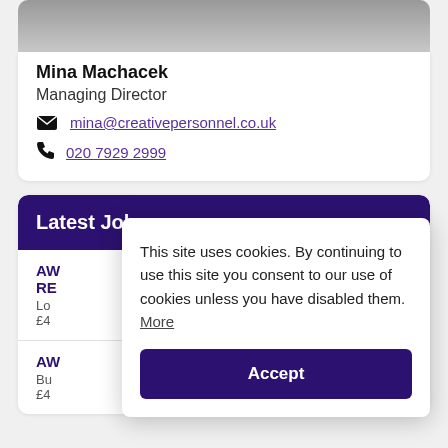[Figure (photo): Partial photo of Mina Machacek, cropped at top of page]
Mina Machacek
Managing Director
mina@creativepersonnel.co.uk
020 7929 2999
Latest Jobs
AW RE Lo £4
AW Bu £4
This site uses cookies. By continuing to use this site you consent to our use of cookies unless you have disabled them. More
Accept